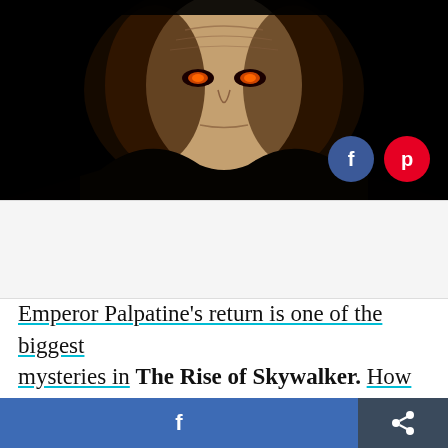[Figure (photo): Dark cinematic close-up of Emperor Palpatine's face with glowing orange-red eyes against a black background, with Facebook and Pinterest social sharing buttons overlaid in the bottom-right corner]
Emperor Palpatine's return is one of the biggest mysteries in The Rise of Skywalker. How is the emperor alive when he seemed to pretty clearly die way back in Return of the Jedi, after Darth Vader
f [share]